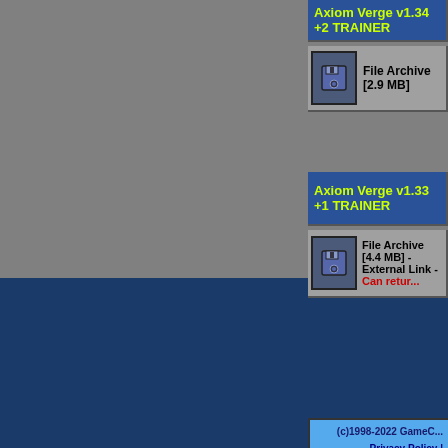Axiom Verge v1.34 +2 TRAINER
File Archive [2.9 MB]
Axiom Verge v1.33 +1 TRAINER
File Archive [4.4 MB] - External Link - Can retur...
(c)1998-2022 GameC... Privacy Policy |